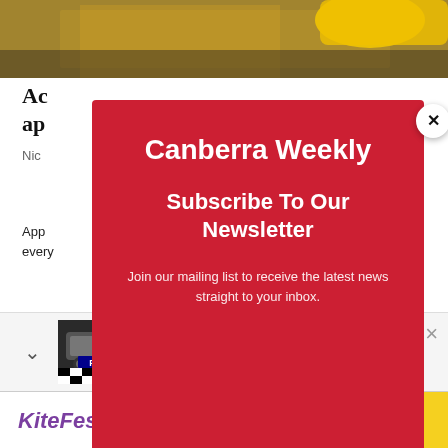[Figure (photo): Top strip of article page showing a wooden surface with yellow object, partially cropped]
Ac... ap...
Nic...
App... every...
[Figure (screenshot): Canberra Weekly newsletter subscription modal popup on red background with close X button]
The... tical
[Figure (screenshot): Browser notification bar showing Missing 33-year-old woman's body found in Belconnen | Canberra Weekly with police car image]
[Figure (infographic): KiteFest advertisement banner - FREE FUN AT GOOGONG]